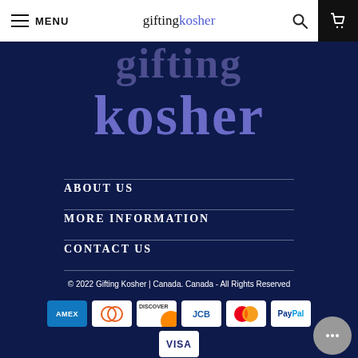MENU | giftingkosher
[Figure (logo): Large gifting kosher logo in purple on dark navy background]
ABOUT US
MORE INFORMATION
CONTACT US
© 2022 Gifting Kosher | Canada. Canada - All Rights Reserved
[Figure (other): Payment method icons: American Express, Diners Club, Discover, JCB, Mastercard, PayPal, Visa]